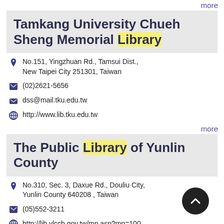more
Tamkang University Chueh Sheng Memorial Library
No.151, Yingzhuan Rd., Tamsui Dist., New Taipei City 251301, Taiwan
(02)2621-5656
dss@mail.tku.edu.tw
http://www.lib.tku.edu.tw
more
The Public Library of Yunlin County
No.310, Sec. 3, Daxue Rd., Douliu City, Yunlin County 640208 , Taiwan
(05)552-3211
http://lib.ylccb.gov.tw/mp.asp?mp=100